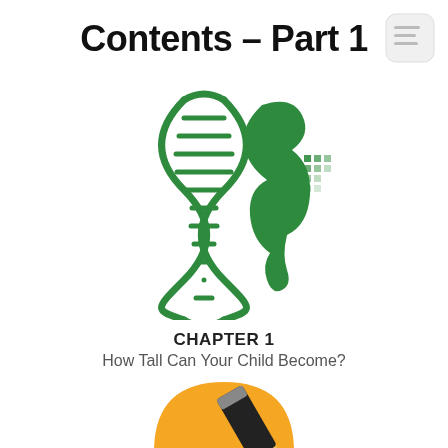Contents – Part 1
[Figure (illustration): Green DNA double helix combined with a green bone/joint icon, representing genetics and skeletal growth]
CHAPTER 1
How Tall Can Your Child Become?
[Figure (illustration): Partial view of a yellow semicircle with a black pencil/eraser icon, partially cut off at bottom of page]